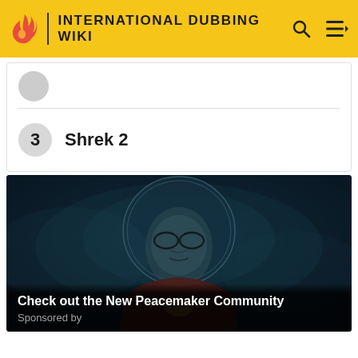INTERNATIONAL DUBBING WIKI
3  Shrek 2
[Figure (photo): A man wearing a helmet and dark costume, lit with blue atmospheric lighting, from the Peacemaker show]
Check out the New Peacemaker Community
Sponsored by